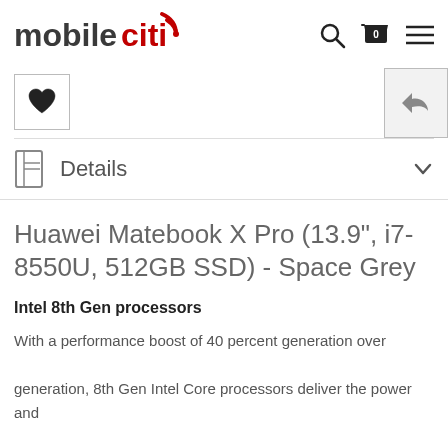mobileciti
[Figure (logo): mobileciti logo with red wifi signal icon, search icon, cart icon with 0 badge, and hamburger menu icon]
[Figure (other): Heart/wishlist button and reply/back button]
Details
Huawei Matebook X Pro (13.9", i7-8550U, 512GB SSD) - Space Grey
Intel 8th Gen processors
With a performance boost of 40 percent generation over generation, 8th Gen Intel Core processors deliver the power and